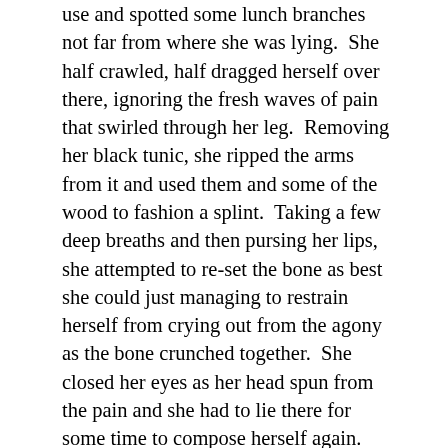use and spotted some lunch branches not far from where she was lying.  She half crawled, half dragged herself over there, ignoring the fresh waves of pain that swirled through her leg.  Removing her black tunic, she ripped the arms from it and used them and some of the wood to fashion a splint.  Taking a few deep breaths and then pursing her lips, she attempted to re-set the bone as best she could just managing to restrain herself from crying out from the agony as the bone crunched together.  She closed her eyes as her head spun from the pain and she had to lie there for some time to compose herself again.  Putting what was left of her jacket back on, she had some pride after all; she used another longer branch to brace herself and falteringly rose into a standing position.  She had to take a moment to lean against a nearby tree, panting with the exertion as she fought down the urge to vomit, not that there was anything to come up from her empty stomach.  Finally, she turned and, using her makeshift walking stick, started slowly hobbling along the river in what she hoped was the direction of civilisation.